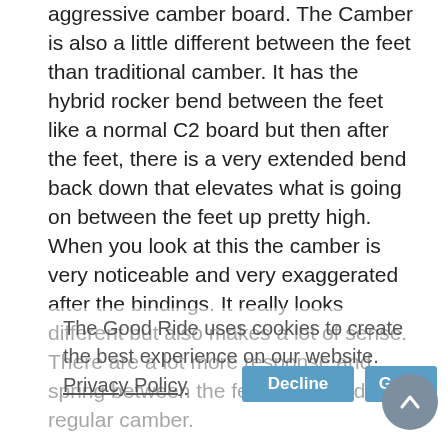aggressive camber board. The Camber is also a little different between the feet than traditional camber. It has the hybrid rocker bend between the feet like a normal C2 board but then after the feet, there is a very extended bend back down that elevates what is going on between the feet up pretty high. When you look at this the camber is very noticeable and very exaggerated after the bindings. It really looks different but also makes a lot of sense.  There are a lot more response and spring between the feet compared to regular camber.
On Snow Feel: Going from the C2 Power to C3 makes a huge difference.  You can really feel the tip and tail digging in and giving you that serious and far from consequence-free camber feel that so many still love. This is fast, very poppy, incredibly fun to carve and one of those boards that old schoolers or ultra-technical riders will really appreciate.  We might go out on a limb here and say it's the most aggressive board in the Mervin line...even more so than the T. Rice Horsepower. It's carve and bombs the mountain kind of board that is very
The Good Ride uses cookies to create the best experience on our website.  Privacy Policy
Decline
Got it